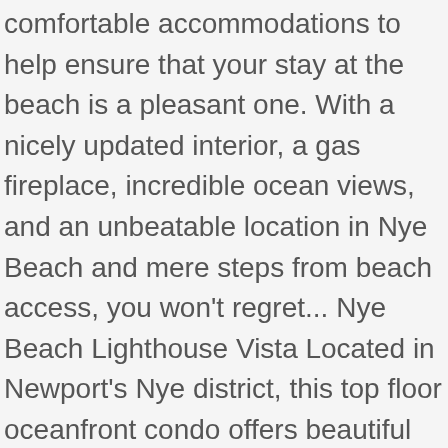comfortable accommodations to help ensure that your stay at the beach is a pleasant one. With a nicely updated interior, a gas fireplace, incredible ocean views, and an unbeatable location in Nye Beach and mere steps from beach access, you won't regret... Nye Beach Lighthouse Vista Located in Newport's Nye district, this top floor oceanfront condo offers beautiful views at affordable prices. Steps away from the picturesque shores of the Oregon Coast, this dog-friendly Newport escape gives you a place to unwind in peace and beauty. Get reviews, hours, directions, coupons and more for Nye Beach Vacation Rentals. Staying Near Nye Beach. Has Patio and Private Yard. They have thought of just about everything you would need for a great vacation home. - Convenient and central location within Nye Beach district of